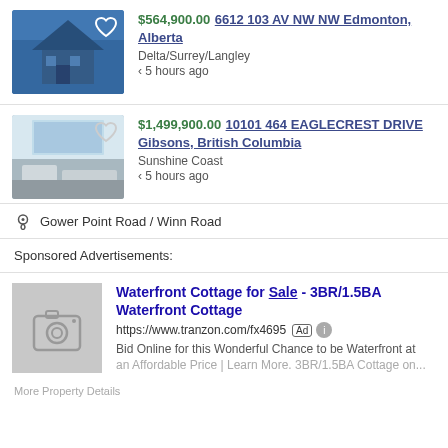[Figure (photo): Photo of a blue house exterior with a heart icon overlay]
$564,900.00 6612 103 AV NW NW Edmonton, Alberta
Delta/Surrey/Langley
< 5 hours ago
[Figure (photo): Photo of a bright modern living room interior with a heart icon overlay]
$1,499,900.00 10101 464 EAGLECREST DRIVE Gibsons, British Columbia
Sunshine Coast
< 5 hours ago
Gower Point Road / Winn Road
Sponsored Advertisements:
[Figure (photo): Placeholder image with camera icon for sponsored ad]
Waterfront Cottage for Sale - 3BR/1.5BA Waterfront Cottage
https://www.tranzon.com/fx4695
Bid Online for this Wonderful Chance to be Waterfront at an Affordable Price | Learn More. 3BR/1.5BA Cottage on...